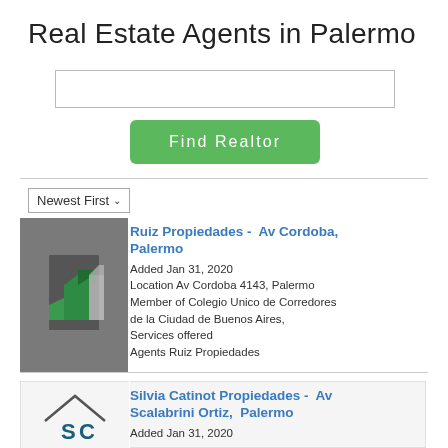Real Estate Agents in Palermo
[Figure (screenshot): Search text input box]
[Figure (screenshot): Find Realtor green button]
[Figure (screenshot): Newest First dropdown selector]
[Figure (screenshot): Listing card: Ruiz Propiedades logo (green building icon on gray background)]
Ruiz Propiedades -  Av Cordoba, Palermo
Added Jan 31, 2020
Location Av Cordoba 4143, Palermo
Member of Colegio Unico de Corredores de la Ciudad de Buenos Aires,
Services offered
Agents Ruiz Propiedades
[Figure (screenshot): Listing card: Silvia Catinot Propiedades logo (SC house icon)]
Silvia Catinot Propiedades -  Av Scalabrini Ortiz,  Palermo
Added Jan 31, 2020